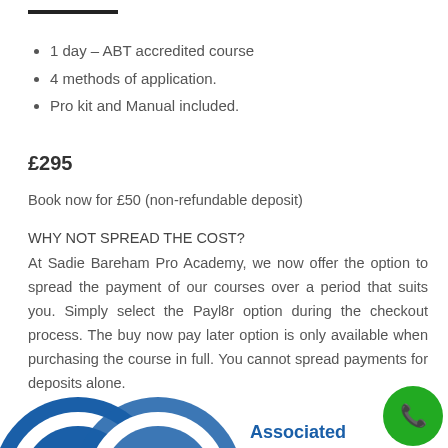1 day – ABT accredited course
4 methods of application.
Pro kit and Manual included.
£295
Book now for £50 (non-refundable deposit)
WHY NOT SPREAD THE COST?
At Sadie Bareham Pro Academy, we now offer the option to spread the payment of our courses over a period that suits you. Simply select the Payl8r option during the checkout process. The buy now pay later option is only available when purchasing the course in full. You cannot spread payments for deposits alone.
[Figure (logo): ABT Associated logo and Associated text in blue, with a green phone button icon in the bottom right corner]